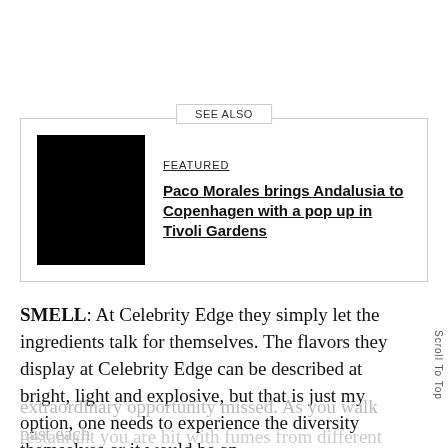[Figure (other): SEE ALSO box with black image thumbnail on the left and article link on the right. Featured label reads 'FEATURED'. Title reads 'Paco Morales brings Andalusia to Copenhagen with a pop up in Tivoli Gardens'.]
SMELL: At Celebrity Edge they simply let the ingredients talk for themselves. The flavors they display at Celebrity Edge can be described at bright, light and explosive, but that is just my option, one needs to experience the diversity themselves or it would be an extraordinary opportunity missed. As you walk past each restaurant you are hit with fumes from different cultural